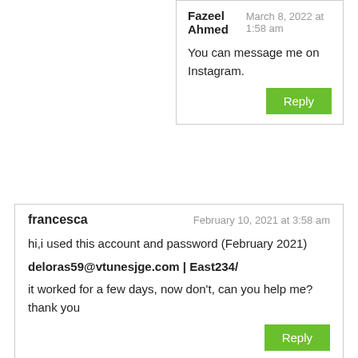Fazeel Ahmed — March 8, 2022 at 1:58 am
You can message me on Instagram.
francesca — February 10, 2021 at 3:58 am
hi,i used this account and password (February 2021)
deloras59@vtunesjge.com | East234/
it worked for a few days, now don't, can you help me?thank you
Fazeel Ahmed — February 11, 2021 at 3:07 am
The other users changed it which is not fair. You should change the password as well or other users should be fair.